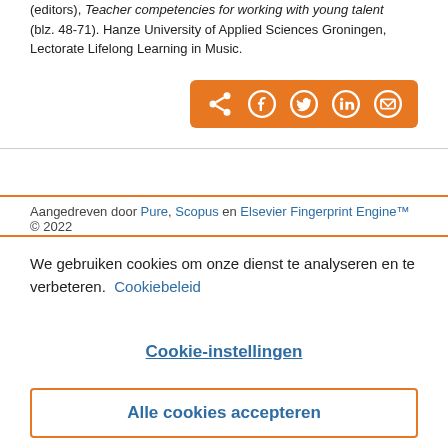(editors), Teacher competencies for working with young talent (blz. 48-71). Hanze University of Applied Sciences Groningen, Lectorate Lifelong Learning in Music.
[Figure (other): Orange share button bar with icons for share, Facebook, Twitter, LinkedIn, and email]
Aangedreven door Pure, Scopus en Elsevier Fingerprint Engine™ © 2022
We gebruiken cookies om onze dienst te analyseren en te verbeteren. Cookiebeleid
Cookie-instellingen
Alle cookies accepteren